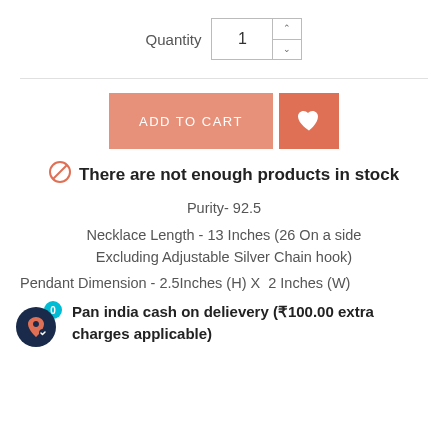Quantity  1
[Figure (other): ADD TO CART button and heart/wishlist button]
There are not enough products in stock
Purity- 92.5
Necklace Length - 13 Inches (26 On a side Excluding Adjustable Silver Chain hook)
Pendant Dimension - 2.5Inches (H) X  2 Inches (W)
Pan india cash on delievery (₹100.00 extra charges applicable)